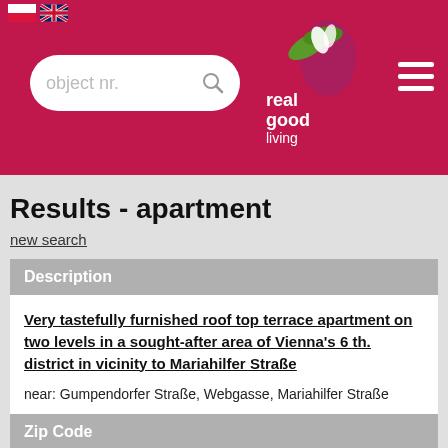real good living — header with search box and logo
Results - apartment
new search
Description
Very tastefully furnished roof top terrace apartment on two levels in a sought-after area of Vienna's 6 th. district in vicinity to Mariahilfer Straße

near: Gumpendorfer Straße, Webgasse, Mariahilfer Straße
Zip Code
Wien / 1060
Rooms